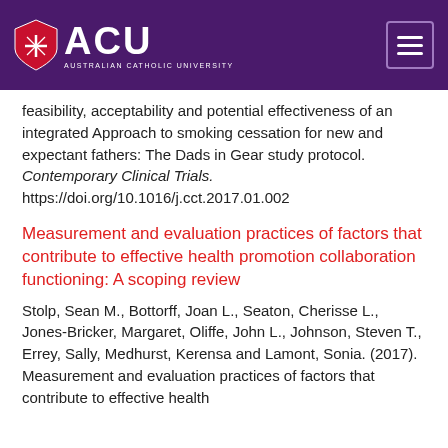[Figure (logo): Australian Catholic University (ACU) logo with shield and text on purple header bar with hamburger menu icon]
feasibility, acceptability and potential effectiveness of an integrated Approach to smoking cessation for new and expectant fathers: The Dads in Gear study protocol. Contemporary Clinical Trials. https://doi.org/10.1016/j.cct.2017.01.002
Measurement and evaluation practices of factors that contribute to effective health promotion collaboration functioning: A scoping review
Stolp, Sean M., Bottorff, Joan L., Seaton, Cherisse L., Jones-Bricker, Margaret, Oliffe, John L., Johnson, Steven T., Errey, Sally, Medhurst, Kerensa and Lamont, Sonia. (2017). Measurement and evaluation practices of factors that contribute to effective health